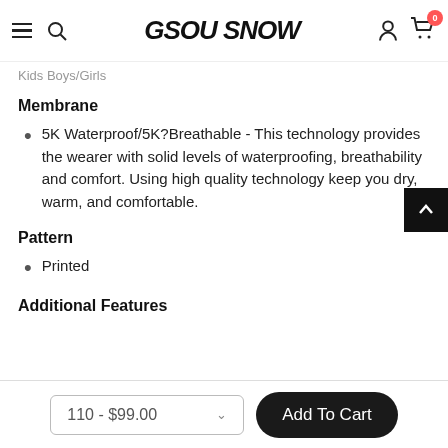GSOU SNOW — navigation header with hamburger, search, logo, user icon, and cart (0)
Kids Boys/Girls
Membrane
5K Waterproof/5K?Breathable - This technology provides the wearer with solid levels of waterproofing, breathability and comfort. Using high quality technology keep you dry, warm, and comfortable.
Pattern
Printed
Additional Features
110 - $99.00  Add To Cart